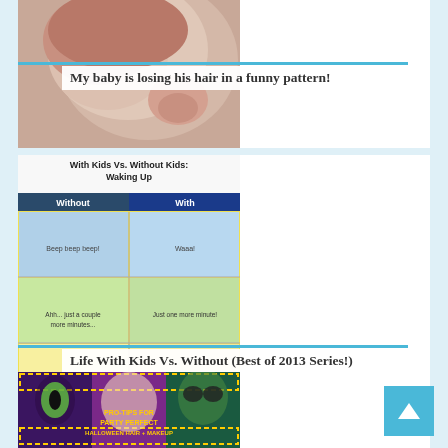[Figure (photo): Close-up photo of a baby's head showing hair loss pattern, side profile view]
My baby is losing his hair in a funny pattern!
[Figure (illustration): Comic illustration: With Kids Vs. Without Kids: Waking Up — two-column comparison comic strip showing sleeping/waking scenes]
Life With Kids Vs. Without (Best of 2013 Series!)
[Figure (photo): Halloween makeup and hair photo collage with text PRO-TIPS FOR PARTY PERFECT HALLOWEEN HAIR + MAKEUP]